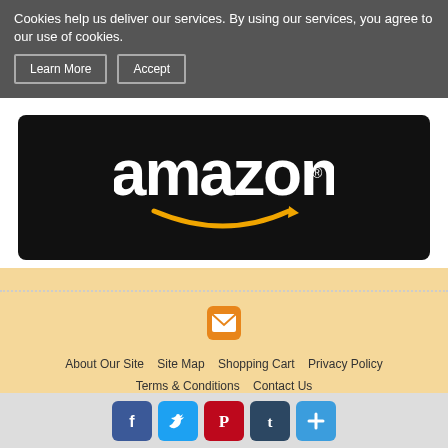Cookies help us deliver our services. By using our services, you agree to our use of cookies.
Learn More | Accept
[Figure (logo): Amazon logo on black background with orange smile arrow]
[Figure (other): Orange envelope/email icon]
About Our Site  Site Map  Shopping Cart  Privacy Policy  Terms & Conditions  Contact Us
[Figure (other): Payment icons: padlock, VISA, MasterCard, American Express, Discover, JCB]
100% Secure Payments
Temptation Coffee
[Figure (other): Social media icons: Facebook, Twitter, Pinterest, Tumblr, Plus]